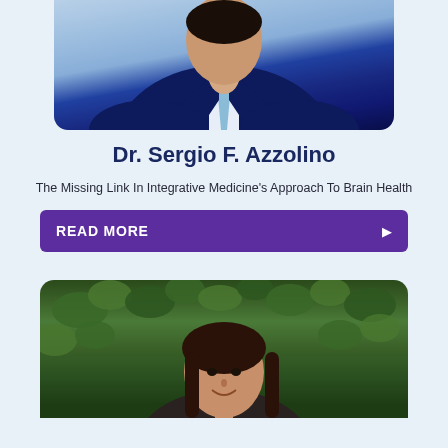[Figure (photo): Portrait photo of Dr. Sergio F. Azzolino, a man in a dark suit with a light blue tie, cropped at the top of the page]
Dr. Sergio F. Azzolino
The Missing Link In Integrative Medicine's Approach To Brain Health
READ MORE
[Figure (photo): Portrait photo of a woman with dark brown hair smiling, with green ivy leaves in the background, visible at the bottom of the page]